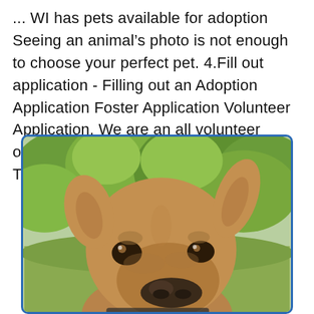... WI has pets available for adoption Seeing an animal's photo is not enough to choose your perfect pet. 4.Fill out application - Filling out an Adoption Application Foster Application Volunteer Application. We are an all volunteer organization based in Westerville, Ohio. To ensure that the pet is placed in a
[Figure (photo): Close-up photo of a brown/tan dog (pit bull type) looking at the camera, with green trees/foliage in the background, framed with a blue border.]